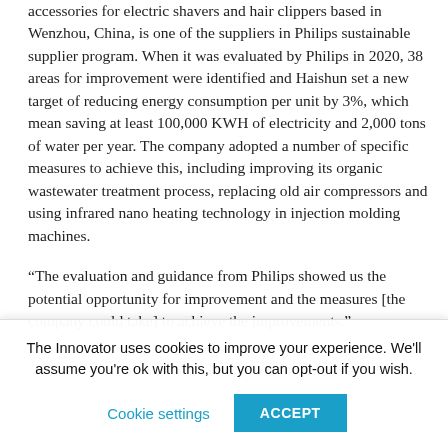accessories for electric shavers and hair clippers based in Wenzhou, China, is one of the suppliers in Philips sustainable supplier program. When it was evaluated by Philips in 2020, 38 areas for improvement were identified and Haishun set a new target of reducing energy consumption per unit by 3%, which mean saving at least 100,000 KWH of electricity and 2,000 tons of water per year. The company adopted a number of specific measures to achieve this, including improving its organic wastewater treatment process, replacing old air compressors and using infrared nano heating technology in injection molding machines.
“The evaluation and guidance from Philips showed us the potential opportunity for improvement and the measures [the company could take] to achieve the improvements.”
The Innovator uses cookies to improve your experience. We'll assume you're ok with this, but you can opt-out if you wish.